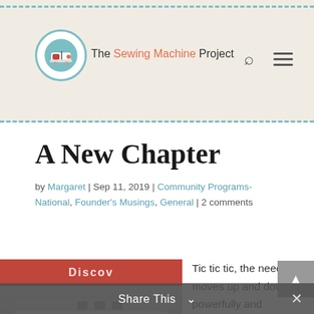The Sewing Machine Project
A New Chapter
by Margaret | Sep 11, 2019 | Community Programs-National, Founder's Musings, General | 2 comments
[Figure (photo): Close-up photo of a Viking sewing machine with colorful stitch selector buttons and knobs, against a red background with text 'Discover']
Tic tic tic, the needle moves up and down powerfully and effortlessly. The stitch is perfect– even and…